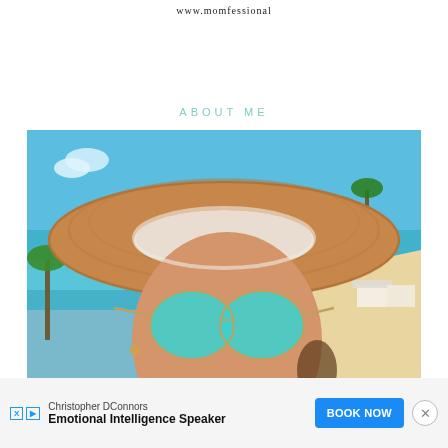www.momfessional
ABOUT ME
[Figure (photo): Woman wearing a large straw sun hat and blue mirrored aviator sunglasses, smiling at camera, with a beach, turquoise water, palm trees and white beach cabanas in the background. Selfie-style photo taken at a tropical beach resort.]
Christopher DConnors
Emotional Intelligence Speaker
BOOK NOW